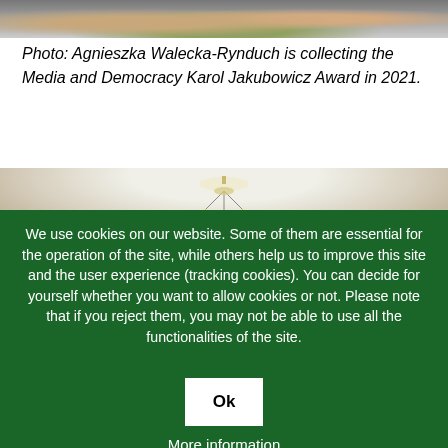[Figure (photo): Partial photo of people at an event, cropped at top]
Photo: Agnieszka Walecka-Rynduch is collecting the Media and Democracy Karol Jakubowicz Award in 2021.
[Figure (photo): Interior photo showing a chandelier and ceiling, partially visible behind cookie overlay]
We use cookies on our website. Some of them are essential for the operation of the site, while others help us to improve this site and the user experience (tracking cookies). You can decide for yourself whether you want to allow cookies or not. Please note that if you reject them, you may not be able to use all the functionalities of the site.
Ok
More information